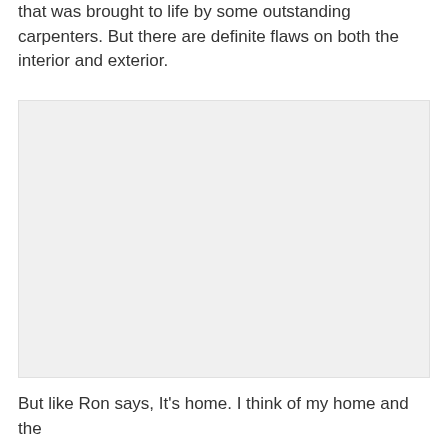that was brought to life by some outstanding carpenters. But there are definite flaws on both the interior and exterior.
[Figure (photo): A large light gray rectangular image placeholder occupying the middle section of the page.]
But like Ron says, It's home. I think of my home and the